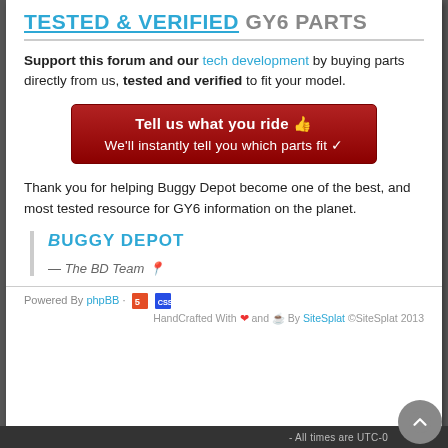TESTED & VERIFIED GY6 PARTS
Support this forum and our tech development by buying parts directly from us, tested and verified to fit your model.
[Figure (other): Red button with text: 'Tell us what you ride 👍' and 'We'll instantly tell you which parts fit ✔']
Thank you for helping Buggy Depot become one of the best, and most tested resource for GY6 information on the planet.
BUGGY DEPOT
— The BD Team 📍
Powered By phpBB · [HTML5 icons] HandCrafted With ❤ and ☕ By SiteSplat ©SiteSplat 2013
- All times are UTC-0